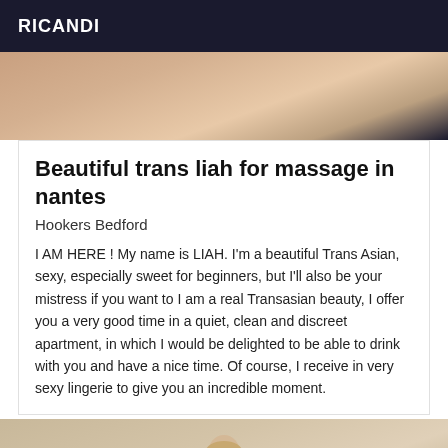RICANDI
[Figure (photo): Partial photo of people, cropped at top of card]
Beautiful trans liah for massage in nantes
Hookers Bedford
I AM HERE ! My name is LIAH. I'm a beautiful Trans Asian, sexy, especially sweet for beginners, but I'll also be your mistress if you want to I am a real Transasian beauty, I offer you a very good time in a quiet, clean and discreet apartment, in which I would be delighted to be able to drink with you and have a nice time. Of course, I receive in very sexy lingerie to give you an incredible moment.
[Figure (photo): Photo showing a person from shoulders up with blonde hair, with a Verified badge in the bottom right corner]